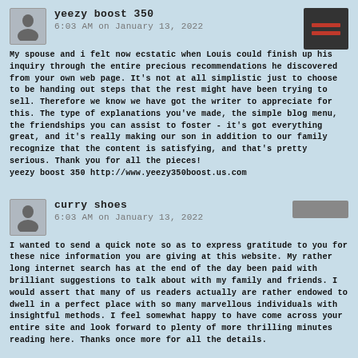yeezy boost 350
6:03 AM on January 13, 2022
My spouse and i felt now ecstatic when Louis could finish up his inquiry through the entire precious recommendations he discovered from your own web page. It's not at all simplistic just to choose to be handing out steps that the rest might have been trying to sell. Therefore we know we have got the writer to appreciate for this. The type of explanations you've made, the simple blog menu, the friendships you can assist to foster - it's got everything great, and it's really making our son in addition to our family recognize that the content is satisfying, and that's pretty serious. Thank you for all the pieces!
yeezy boost 350 http://www.yeezy350boost.us.com
curry shoes
6:03 AM on January 13, 2022
I wanted to send a quick note so as to express gratitude to you for these nice information you are giving at this website. My rather long internet search has at the end of the day been paid with brilliant suggestions to talk about with my family and friends. I would assert that many of us readers actually are rather endowed to dwell in a perfect place with so many marvellous individuals with insightful methods. I feel somewhat happy to have come across your entire site and look forward to plenty of more thrilling minutes reading here. Thanks once more for all the details.